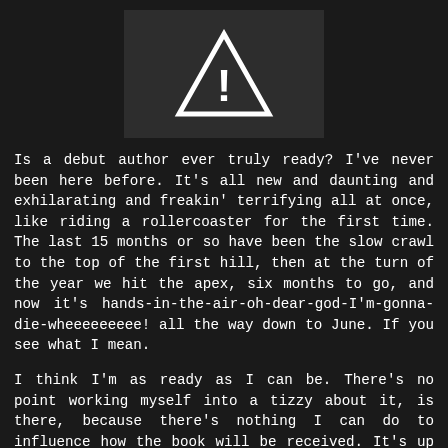[Figure (illustration): Warning/exclamation triangle icon in white on a dark grey rectangular background, centered at top of page]
Is a debut author ever truly ready? I've never been here before. It's all new and daunting and exhilarating and freakin' terrifying all at once, like riding a rollercoaster for the first time. The last 15 months or so have been the slow crawl to the top of the first hill, then at the turn of the year we hit the apex, six months to go, and now it's hands-in-the-air-oh-dear-god-I'm-gonna-die-wheeeeeeeee! all the way down to June. If you see what I mean.
I think I'm as ready as I can be. There's no point working myself into a tizzy about it, is there, because there's nothing I can do to influence how the book will be received. It's up to the readers now.
Letting go wasn't as hard as I thought it might be. I knew